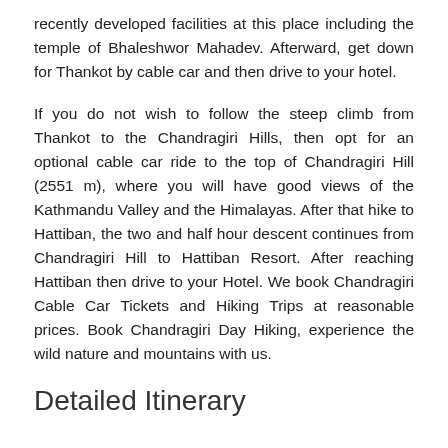recently developed facilities at this place including the temple of Bhaleshwor Mahadev. Afterward, get down for Thankot by cable car and then drive to your hotel.
If you do not wish to follow the steep climb from Thankot to the Chandragiri Hills, then opt for an optional cable car ride to the top of Chandragiri Hill (2551 m), where you will have good views of the Kathmandu Valley and the Himalayas. After that hike to Hattiban, the two and half hour descent continues from Chandragiri Hill to Hattiban Resort. After reaching Hattiban then drive to your Hotel. We book Chandragiri Cable Car Tickets and Hiking Trips at reasonable prices. Book Chandragiri Day Hiking, experience the wild nature and mountains with us.
Detailed Itinerary